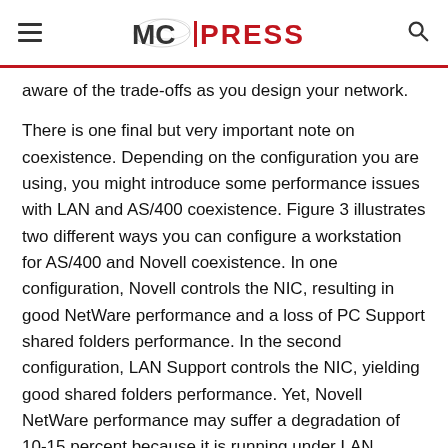MC PRESS
aware of the trade-offs as you design your network.
There is one final but very important note on coexistence. Depending on the configuration you are using, you might introduce some performance issues with LAN and AS/400 coexistence. Figure 3 illustrates two different ways you can configure a workstation for AS/400 and Novell coexistence. In one configuration, Novell controls the NIC, resulting in good NetWare performance and a loss of PC Support shared folders performance. In the second configuration, LAN Support controls the NIC, yielding good shared folders performance. Yet, Novell NetWare performance may suffer a degradation of 10-15 percent because it is running under LAN Support. You need to be aware of the trade-offs as you design your network.